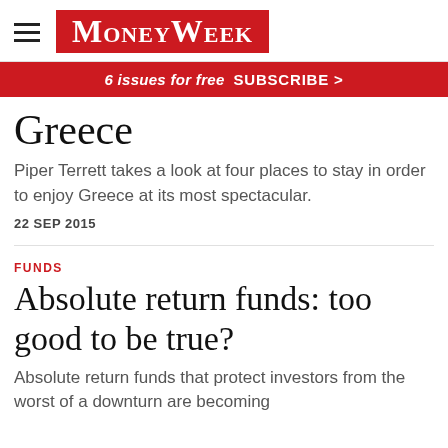MoneyWeek
6 issues for free  SUBSCRIBE >
Greece
Piper Terrett takes a look at four places to stay in order to enjoy Greece at its most spectacular.
22 SEP 2015
FUNDS
Absolute return funds: too good to be true?
Absolute return funds that protect investors from the worst of a downturn are becoming